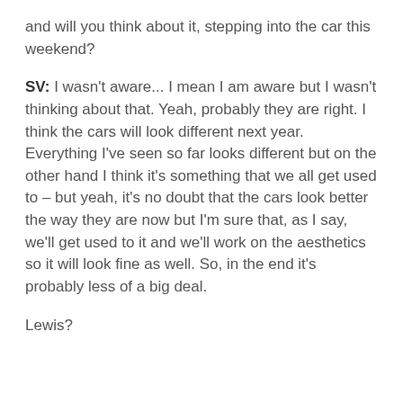and will you think about it, stepping into the car this weekend?
SV: I wasn't aware... I mean I am aware but I wasn't thinking about that. Yeah, probably they are right. I think the cars will look different next year. Everything I've seen so far looks different but on the other hand I think it's something that we all get used to – but yeah, it's no doubt that the cars look better the way they are now but I'm sure that, as I say, we'll get used to it and we'll work on the aesthetics so it will look fine as well. So, in the end it's probably less of a big deal.
Lewis?
This website uses cookies to improve your experience. We'll assume you're ok with this, but you can opt-out if you wish.
Cookie settings
ACCEPT